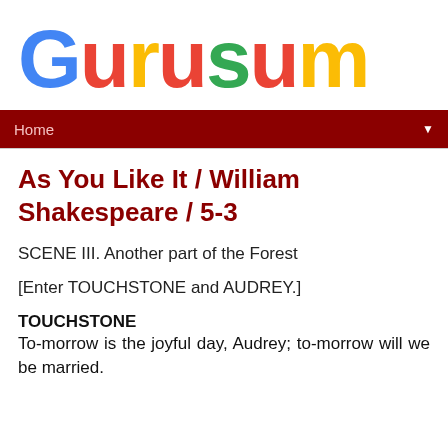[Figure (logo): Gurusum logo with multicolored letters: G in blue, u in red, r in yellow/orange, u in red, s in green, u in red, m in yellow]
Home ▼
As You Like It / William Shakespeare / 5-3
SCENE III. Another part of the Forest
[Enter TOUCHSTONE and AUDREY.]
TOUCHSTONE
To-morrow is the joyful day, Audrey; to-morrow will we be married.